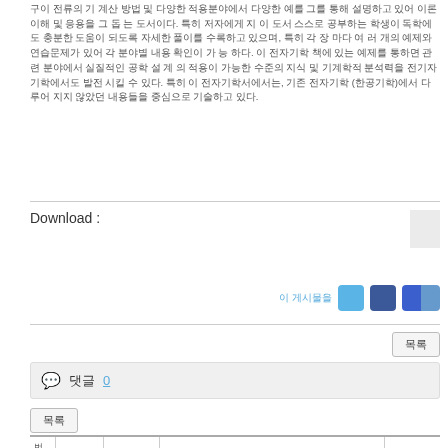구이 전류의 기 계산 방법 및 다양한 적용분야에서 다양한 예를 그를 통해 설명하고 있어 이론 이해 및 응용을 그 돕 는 도서이다. 특히 저자에게 지 이 도서 스스로 공부하는 학생이 독학에도 충분한 도움이 되도록 자세한 풀이를 수록하고 있으며, 특히 각 장 마다 여러 개의 예제와 연습문제가 있어 각 분야별 내용 확인이 가 능 하다. 이 전자기학 책에 있는 예제를 통하면 관련 분야에서 실질적인 공학 설 계 의 적용이 가능한 수준의 지식 및 기계학적 분석력을 전기자기학에서도 발전 시킬 수 있다. 특히 이 전자기학서에서는, 기존 전자기학 (한공기학)에서 다루어 지지 않았던 내용들을 중심으로 기술하고 있다.
Download :
이 게시물을
댓글 0
목록
| 번호 | category | 제목 | 내용 | author |
| --- | --- | --- | --- | --- |
| 49 | DC | 전자기학개론 | 전자기학관련 다양한 예제와 연습문제 및 공학 설계 에 관한 내용 | Kichang Lee |